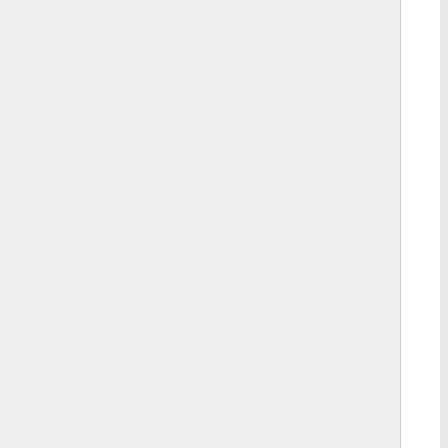The Caretaker - Clara is now a School t...of it.
Kill the Moon - The Doctor and Clara tak...
Mummy on the orient express - Murder o...
Flatline - Bristol, and The Doctor is stuck...aliens are 2D.
In the forest of the night - Went to sleep...
Dark Water] - Who's This Missy that cre...
Death In heaven] Missy's Evil Plans are...
Series 9
last Christmas - Christmas in the north p...Christmas (Simon Frost)
the magicians apprentice] - Missy's Back...
The Witch's Familiar] - Missy Must help...
Under The Lake] - in a ship with the mos...
Before the Flood] - The Alien is released...
The Girl who died] - a village full of vikin...
The women who lived] - The war is won...
The Zygon Invasion] - Zygons once aga...
The Zygon Inversion] - Planet earth defe...